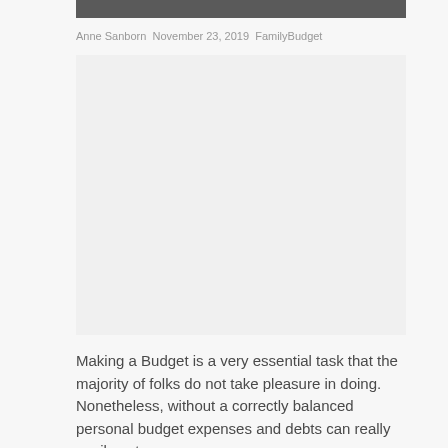Anne Sanborn November 23, 2019 FamilyBudget
[Figure (photo): Image placeholder area, appears to be a photograph or illustration related to family budgeting]
Making a Budget is a very essential task that the majority of folks do not take pleasure in doing. Nonetheless, without a correctly balanced personal budget expenses and debts can really easily get